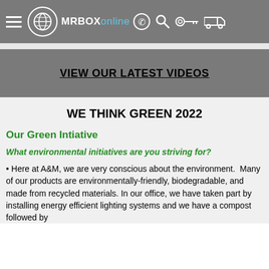MRBOX online
VIEW OUR LATEST VIDEOS
WE THINK GREEN 2022
Our Green Intiative
What environmental initiatives are you striving for?
• Here at A&M, we are very conscious about the environment.  Many of our products are environmentally-friendly, biodegradable, and made from recycled materials. In our office, we have taken part by installing energy efficient lighting systems and we have a compost followed by...